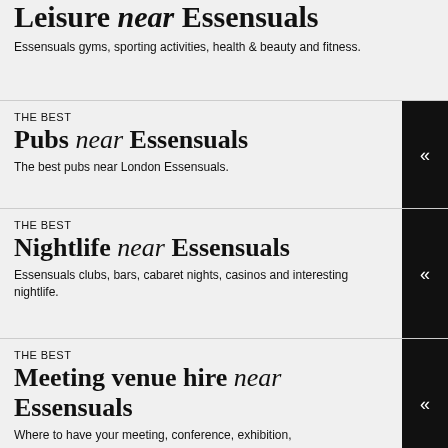Leisure near Essensuals
Essensuals gyms, sporting activities, health & beauty and fitness.
THE BEST
Pubs near Essensuals
The best pubs near London Essensuals.
THE BEST
Nightlife near Essensuals
Essensuals clubs, bars, cabaret nights, casinos and interesting nightlife.
THE BEST
Meeting venue hire near Essensuals
Where to have your meeting, conference, exhibition,